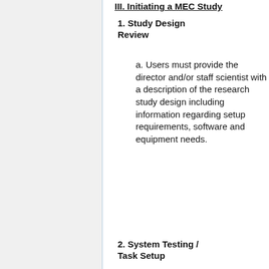III. Initiating a MEC Study
1. Study Design Review
a. Users must provide the director and/or staff scientist with a description of the research study design including information regarding setup requirements, software and equipment needs.
2. System Testing / Task Setup